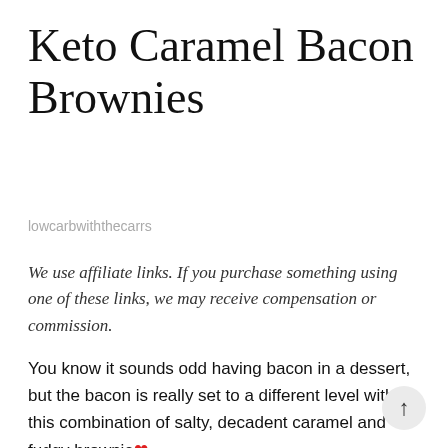Keto Caramel Bacon Brownies
lowcarbwiththecarrs
We use affiliate links. If you purchase something using one of these links, we may receive compensation or commission.
You know it sounds odd having bacon in a dessert, but the bacon is really set to a different level with this combination of salty, decadent caramel and fudgy brownie ❤